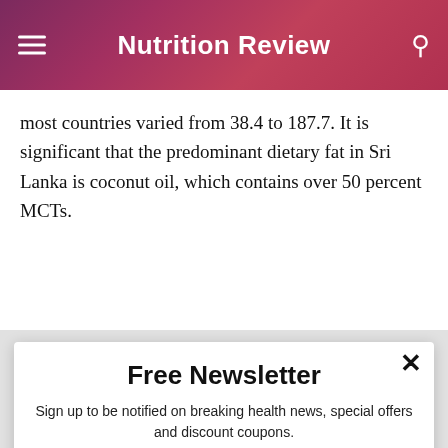Nutrition Review
most countries varied from 38.4 to 187.7. It is significant that the predominant dietary fat in Sri Lanka is coconut oil, which contains over 50 percent MCTs.
Free Newsletter
Sign up to be notified on breaking health news, special offers and discount coupons.
Enter your email
Subscribe
powered by MailMunch